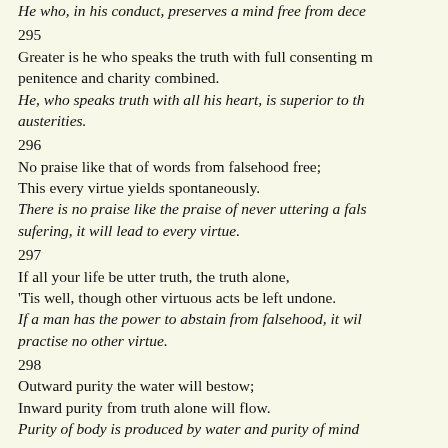He who, in his conduct, preserves a mind free from dece…
295
Greater is he who speaks the truth with full consenting m… penitence and charity combined.
He, who speaks truth with all his heart, is superior to th… austerities.
296
No praise like that of words from falsehood free;
This every virtue yields spontaneously.
There is no praise like the praise of never uttering a fals… sufering, it will lead to every virtue.
297
If all your life be utter truth, the truth alone,
'Tis well, though other virtuous acts be left undone.
If a man has the power to abstain from falsehood, it wil… practise no other virtue.
298
Outward purity the water will bestow;
Inward purity from truth alone will flow.
Purity of body is produced by water and purity of mind…
299
Every lamp is not a lamp in wise men's sight;
That's the lamp with truth's pure radiance bright.
All lamps of nature are not lamps; the lamp of truth is th…